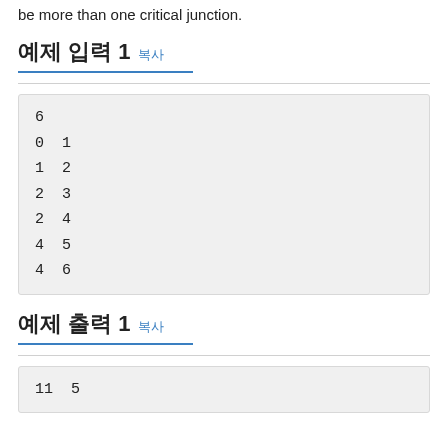be more than one critical junction.
예제 입력 1 복사
6
0 1
1 2
2 3
2 4
4 5
4 6
예제 출력 1 복사
11  5